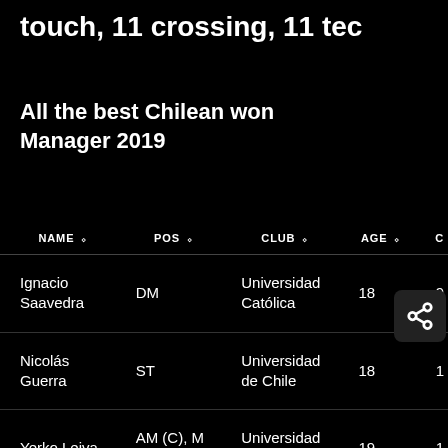touch, 11 crossing, 11 tec
All the best Chilean wonders in Football Manager 2019
| NAME | POS | CLUB | AGE | C |
| --- | --- | --- | --- | --- |
| Ignacio Saavedra | DM | Universidad Católica | 18 | 9 |
| Nicolás Guerra | ST | Universidad de Chile | 18 | 1 |
| Yerko Leiva | AM (C), M (C) | Universidad de Chile | 19 | 1 |